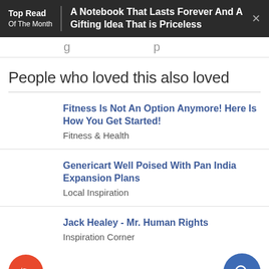Top Read Of The Month | A Notebook That Lasts Forever And A Gifting Idea That is Priceless
People who loved this also loved
Fitness Is Not An Option Anymore! Here Is How You Get Started! — Fitness & Health
Genericart Well Poised With Pan India Expansion Plans — Local Inspiration
Jack Healey - Mr. Human Rights — Inspiration Corner
What's the Current Legal Status of CBD Oil in